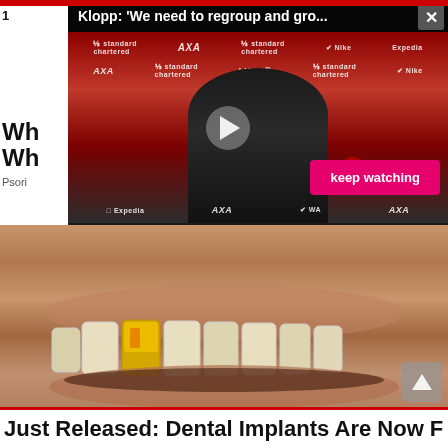[Figure (screenshot): Video overlay popup showing Jurgen Klopp press conference with title 'Klopp: We need to regroup and gro...' and a 'keep watching' button in pink/red, close button top right, play button visible. Behind the overlay are partial article headlines cut off on the left side.]
[Figure (photo): Close-up photo of a person's smile showing teeth with one gold tooth/dental crown visible among otherwise yellowish-white teeth, set against skin-toned face background.]
Just Released: Dental Implants Are Now Free
Wh... ot
Wh...
Psori...